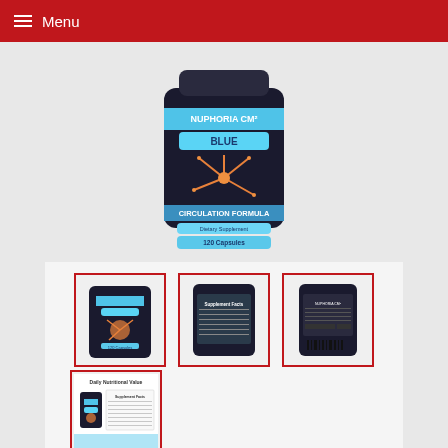Menu
[Figure (photo): Main product image of Nuphoria CM2 Blue Circulation Formula dietary supplement bottle, 120 capsules, black bottle with blue label and orange neuron graphic]
[Figure (photo): Thumbnail 1: Front view of Nuphoria CM2 Blue bottle]
[Figure (photo): Thumbnail 2: Side view showing Supplement Facts label on Nuphoria CM2 bottle]
[Figure (photo): Thumbnail 3: Back view of Nuphoria CM2 bottle with barcode]
[Figure (photo): Thumbnail 4: Daily Nutritional Value info sheet with supplement facts and product image]